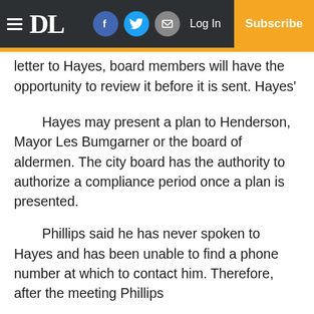DL | Log In | Subscribe
Once Fernald has drafted the warning letter to Hayes, board members will have the opportunity to review it before it is sent. Hayes' 15-day window to present a plan begins once he receives the letter.
Hayes may present a plan to Henderson, Mayor Les Bumgarner or the board of aldermen. The city board has the authority to authorize a compliance period once a plan is presented.
Phillips said he has never spoken to Hayes and has been unable to find a phone number at which to contact him. Therefore, after the meeting Phillips